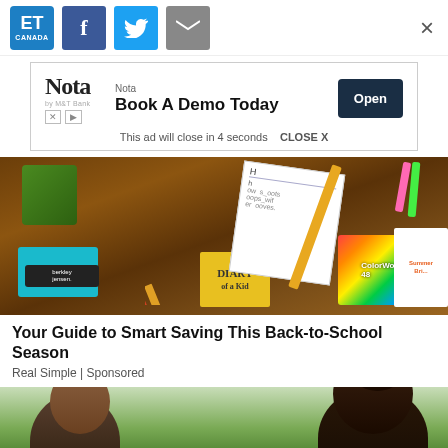[Figure (screenshot): ET Canada logo, Facebook, Twitter, mail social share buttons, and X close button in header bar]
[Figure (screenshot): Advertisement overlay: Nota logo, 'Book A Demo Today' text, 'Open' button, 'This ad will close in 4 seconds' and 'CLOSE X' text]
[Figure (photo): Back-to-school supplies: pencils, crayons, notebooks, Diary book, ColorWorld markers, berkley jensen brand, lined paper with handwriting practice]
Your Guide to Smart Saving This Back-to-School Season
Real Simple | Sponsored
[Figure (photo): Two people facing each other in outdoor setting, man on left and woman on right with dark hair up]